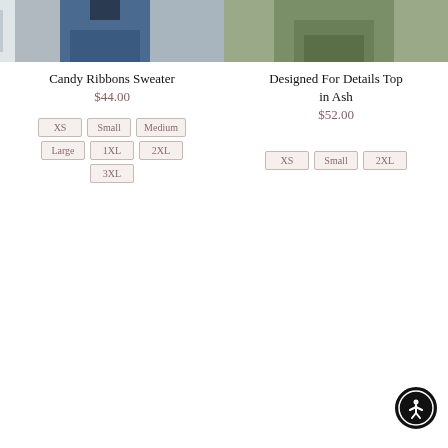[Figure (photo): Product photo of Candy Ribbons Sweater - woman wearing jeans, cropped lower body shot]
Candy Ribbons Sweater
$44.00
XS
Small
Medium
Large
1XL
2XL
3XL
[Figure (photo): Product photo of Designed For Details Top in Ash - woman wearing olive/ash colored pants, cropped lower body shot]
Designed For Details Top in Ash
$52.00
XS
Small
2XL